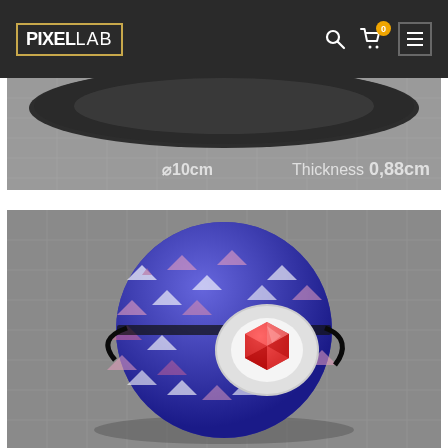PIXELLAB — navigation header with search, cart (0 items), and menu icons
[Figure (photo): 3D render of a dark circular disk/ring object on a grid surface with measurements: diameter 10cm, Thickness 0.88cm]
[Figure (photo): 3D render of a blue sphere with colorful triangle pattern and a red gem/crystal in the center, partially open like a Pokeball]